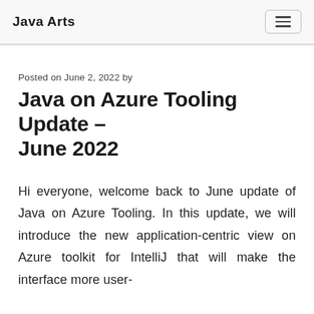Java Arts
Posted on June 2, 2022 by
Java on Azure Tooling Update – June 2022
Hi everyone, welcome back to June update of Java on Azure Tooling. In this update, we will introduce the new application-centric view on Azure toolkit for IntelliJ that will make the interface more user-